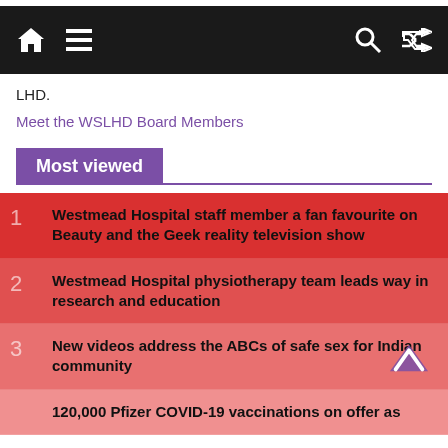Navigation bar with home, menu, search, and shuffle icons
LHD.
Meet the WSLHD Board Members
Most viewed
1 Westmead Hospital staff member a fan favourite on Beauty and the Geek reality television show
2 Westmead Hospital physiotherapy team leads way in research and education
3 New videos address the ABCs of safe sex for Indian community
120,000 Pfizer COVID-19 vaccinations on offer as